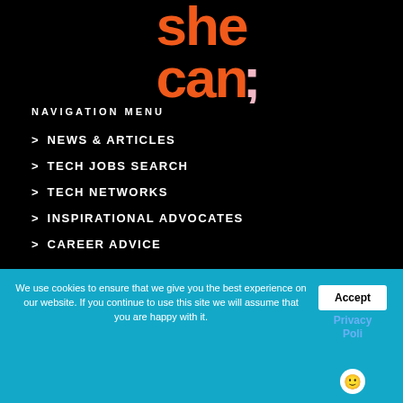[Figure (logo): she can; logo in orange and pink text on black background]
NAVIGATION MENU
> NEWS & ARTICLES
> TECH JOBS SEARCH
> TECH NETWORKS
> INSPIRATIONAL ADVOCATES
> CAREER ADVICE
NAVIGATION MENU
We use cookies to ensure that we give you the best experience on our website. If you continue to use this site we will assume that you are happy with it.
Accept
Privacy Poli